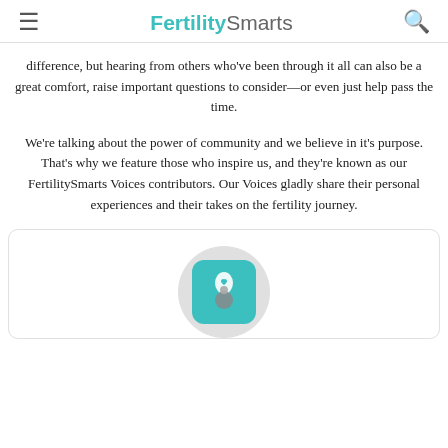FertilitySmarts
difference, but hearing from others who've been through it all can also be a great comfort, raise important questions to consider—or even just help pass the time.
We're talking about the power of community and we believe in it's purpose. That's why we feature those who inspire us, and they're known as our FertilitySmarts Voices contributors. Our Voices gladly share their personal experiences and their takes on the fertility journey.
[Figure (logo): FertilitySmarts logo icon — teal rounded square with a stylized droplet and figure design in grey/white, shown inside a circular grey avatar placeholder]